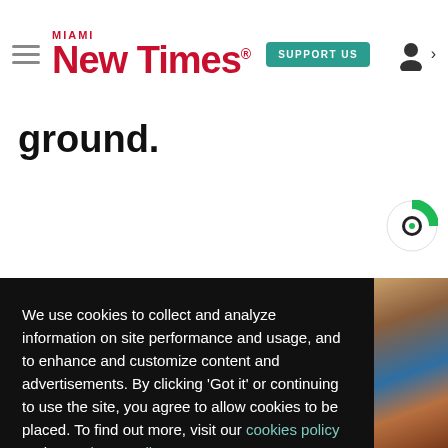Miami New Times — SUPPORT US
ground.
We use cookies to collect and analyze information on site performance and usage, and to enhance and customize content and advertisements. By clicking 'Got it' or continuing to use the site, you agree to allow cookies to be placed. To find out more, visit our cookies policy and our privacy policy.
Got it!